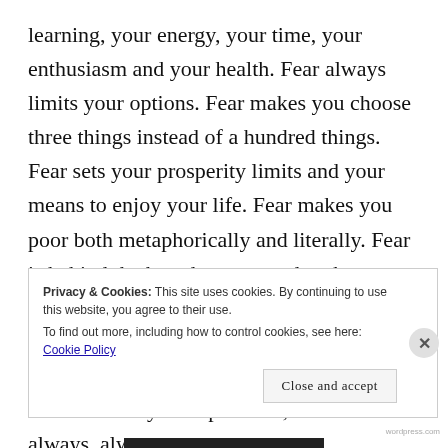learning, your energy, your time, your enthusiasm and your health. Fear always limits your options. Fear makes you choose three things instead of a hundred things. Fear sets your prosperity limits and your means to enjoy your life. Fear makes you poor both metaphorically and literally. Fear is behind the boredom you endure because it talked you into what you can and cannot do, always emphasizing what you cannot do! In a life so full and rich, with so much infinite variety of experience, there is always, always
Privacy & Cookies: This site uses cookies. By continuing to use this website, you agree to their use.
To find out more, including how to control cookies, see here: Cookie Policy
Close and accept